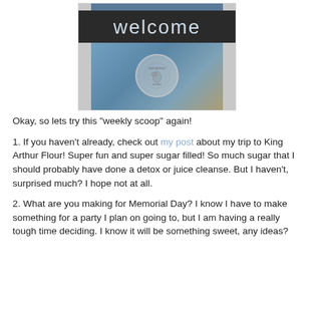[Figure (photo): Photo of a glass door with 'welcome' text on a dark background at the top, and a circular King Arthur Flour logo decal in the center of the glass. The reflection shows trees and a building exterior.]
Okay, so lets try this "weekly scoop" again!
1. If you haven't already, check out my post about my trip to King Arthur Flour! Super fun and super sugar filled! So much sugar that I should probably have done a detox or juice cleanse. But I haven't, surprised much? I hope not at all.
2. What are you making for Memorial Day? I know I have to make something for a party I plan on going to, but I am having a really tough time deciding. I know it will be something sweet, any ideas?